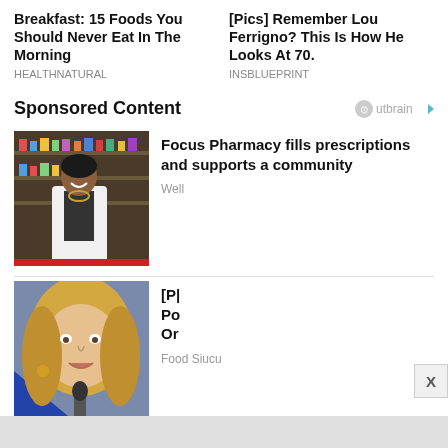Breakfast: 15 Foods You Should Never Eat In The Morning
HEALTHNATURAL
[Pics] Remember Lou Ferrigno? This Is How He Looks At 70.
Insblueprint
Sponsored Content
[Figure (photo): Woman in white lab coat standing in pharmacy/store]
Focus Pharmacy fills prescriptions and supports a community
Well
[Figure (photo): Blonde woman speaking at microphone]
[P|
Po
Or
Food Siucu